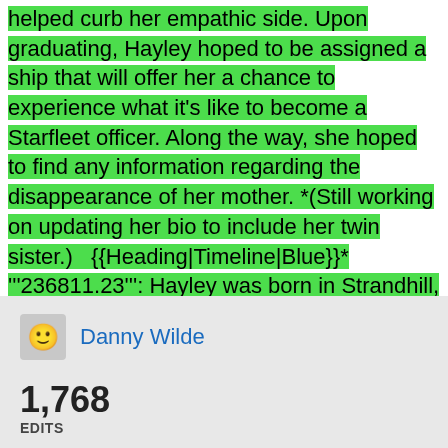helped curb her empathic side. Upon graduating, Hayley hoped to be assigned a ship that will offer her a chance to experience what it's like to become a Starfleet officer. Along the way, she hoped to find any information regarding the disappearance of her mother. *(Still working on updating her bio to include her twin sister.)   {{Heading|Timeline|Blue}}* '''236811.23''': Hayley was born in Strandhill, Ireland* '''238103.02''': Inspired by her father, Hayley considered a path in engineering* '''238509.05''': Attended the Dublin Engineering School at a technical college* '''238905.04''': Graduated and accept a position on board the SS. "Badlands", an "Antares" class freighter** '''238905.20-239206.01''': Served on board the SS. "Badlands" and crossed several territories including
Danny Wilde
1,768 EDITS